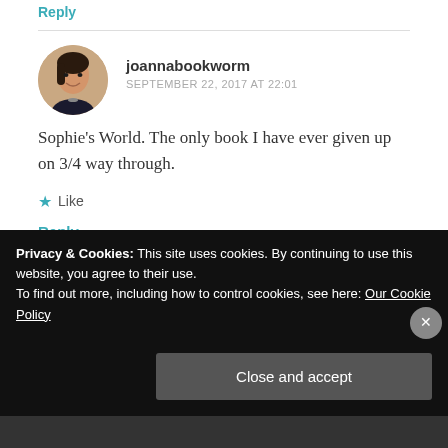Reply
joannabookworm
SEPTEMBER 22, 2017 AT 22:01
Sophie's World. The only book I have ever given up on 3/4 way through.
Like
Reply
Privacy & Cookies: This site uses cookies. By continuing to use this website, you agree to their use.
To find out more, including how to control cookies, see here: Our Cookie Policy
Close and accept